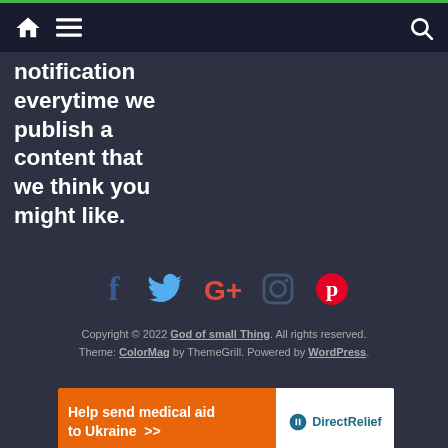Navigation bar with home, menu, and search icons
notification everytime we publish a content that we think you might like.
[Figure (infographic): Social media icons: Facebook (blue f), Twitter (light blue bird), Google+ (red/orange G+), Instagram (dark blue camera outline), Pinterest (red P)]
Copyright © 2022 God of small Thing. All rights reserved. Theme: ColorMag by ThemeGrill. Powered by WordPress.
[Figure (infographic): Orange advertisement banner: Help send medical aid to Ukraine >> with DirectRelief logo on white background]